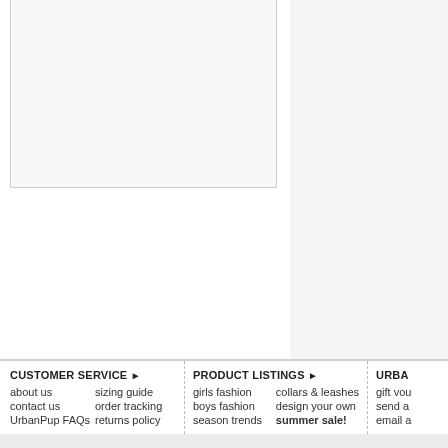[Figure (photo): Product image area (white/light gray box, partially visible)]
Delivery United States
$5.15 delivery fee or FREE
Airmail delivery 2-5 working days most suitable carrier, depe
Airsure® Priority Delivery
Select Booties / Sock
Select Size...
Select Quantity
1
CUSTOMER SERVICE ▶ about us  sizing guide  contact us  order tracking  UrbanPup FAQs  returns policy
PRODUCT LISTINGS ▶ girls fashion  collars & leashes  boys fashion  design your own  season trends  summer sale!
URBA gift vou send a email a